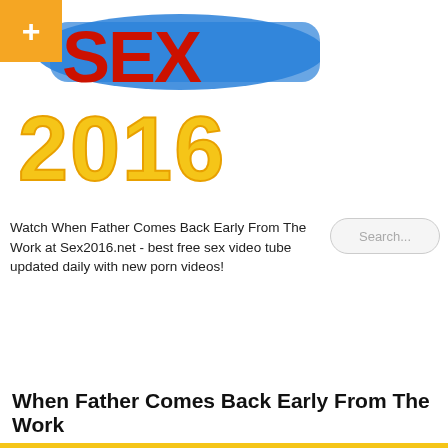[Figure (logo): Sex2016.net website logo with orange plus button, colorful SEX text in red with blue brushstroke background and 2016 in yellow 3D letters]
Watch When Father Comes Back Early From The Work at Sex2016.net - best free sex video tube updated daily with new porn videos!
When Father Comes Back Early From The Work